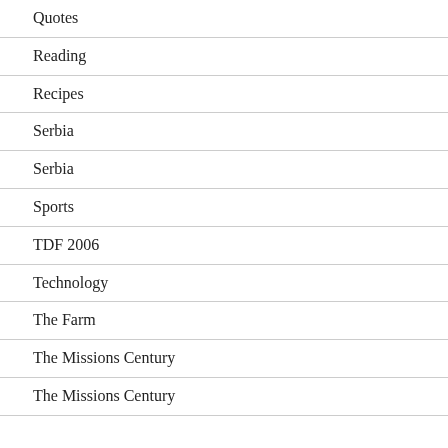Quotes
Reading
Recipes
Serbia
Serbia
Sports
TDF 2006
Technology
The Farm
The Missions Century
The Missions Century